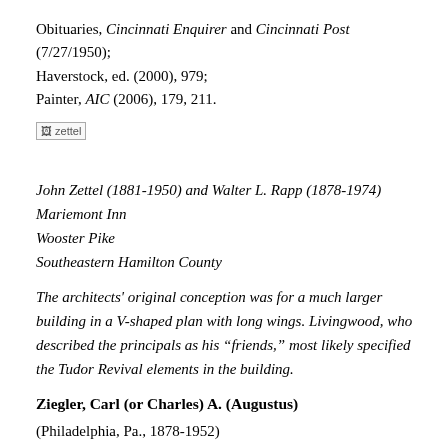Obituaries, Cincinnati Enquirer and Cincinnati Post (7/27/1950); Haverstock, ed. (2000), 979; Painter, AIC (2006), 179, 211.
[Figure (photo): Small thumbnail image labeled 'zettel']
John Zettel (1881-1950) and Walter L. Rapp (1878-1974)
Mariemont Inn
Wooster Pike
Southeastern Hamilton County
The architects' original conception was for a much larger building in a V-shaped plan with long wings. Livingwood, who described the principals as his “friends,” most likely specified the Tudor Revival elements in the building.
Ziegler, Carl (or Charles) A. (Augustus)
(Philadelphia, Pa., 1878-1952)